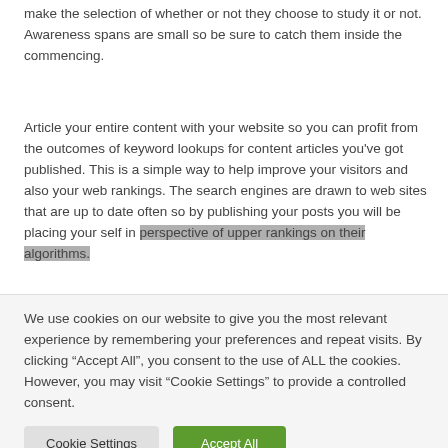make the selection of whether or not they choose to study it or not. Awareness spans are small so be sure to catch them inside the commencing.
Article your entire content with your website so you can profit from the outcomes of keyword lookups for content articles you've got published. This is a simple way to help improve your visitors and also your web rankings. The search engines are drawn to web sites that are up to date often so by publishing your posts you will be placing your self in perspective of upper rankings on their algorithms.
We use cookies on our website to give you the most relevant experience by remembering your preferences and repeat visits. By clicking “Accept All”, you consent to the use of ALL the cookies. However, you may visit "Cookie Settings" to provide a controlled consent.
Cookie Settings | Accept All